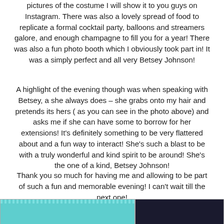pictures of the costume I will show it to you guys on Instagram. There was also a lovely spread of food to replicate a formal cocktail party, balloons and streamers galore, and enough champagne to fill you for a year! There was also a fun photo booth which I obviously took part in! It was a simply perfect and all very Betsey Johnson!
A highlight of the evening though was when speaking with Betsey, a she always does – she grabs onto my hair and pretends its hers ( as you can see in the photo above) and asks me if she can have some to borrow for her extensions! It's definitely something to be very flattered about and a fun way to interact! She's such a blast to be with a truly wonderful and kind spirit to be around! She's the one of a kind, Betsey Johnson!
Thank you so much for having me and allowing to be part of such a fun and memorable evening! I can't wait till the next one!
[Figure (photo): Two photos at the bottom of the page. Left photo shows a person in front of a teal/turquoise sparkly backdrop. Right photo shows people in a dark setting.]